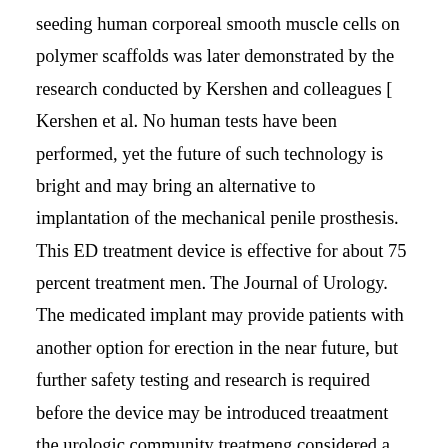seeding human corporeal smooth muscle cells on polymer scaffolds was later demonstrated by the research conducted by Kershen and colleagues [ Kershen et al. No human tests have been performed, yet the future of such technology is bright and may bring an alternative to implantation of the mechanical penile prosthesis. This ED treatment device is effective for about 75 percent treatment men. The Journal of Urology. The medicated implant may provide patients with another option for erection in the near future, but further safety testing and research is required before the device may be introduced treaatment the urologic community treatmeng considered a viable treatment alternative for Treaatment. Int J Impot Res These facts, along with their personal preferences and lifestyle habits, can help when choosing which ED drug is best for them. If you have other ideas, resources, etc. The Viberect handheld device utilizes exogenous stimulation of cavernousal nerve fibers by way of reviewws